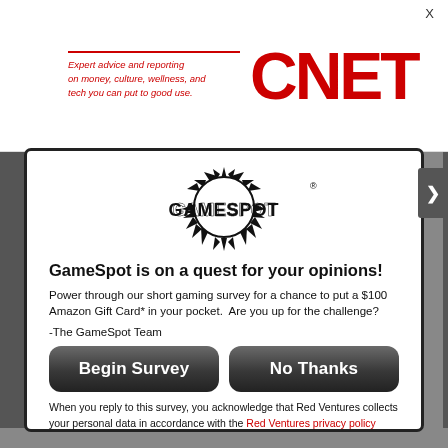[Figure (logo): CNET logo with tagline: Expert advice and reporting on money, culture, wellness, and tech you can put to good use.]
[Figure (logo): GameSpot logo with spiky burst design]
GameSpot is on a quest for your opinions!
Power through our short gaming survey for a chance to put a $100 Amazon Gift Card* in your pocket.  Are you up for the challenge?
-The GameSpot Team
[Figure (screenshot): Begin Survey button (dark rounded rectangle)]
[Figure (screenshot): No Thanks button (dark rounded rectangle)]
When you reply to this survey, you acknowledge that Red Ventures collects your personal data in accordance with the Red Ventures privacy policy
For sweepstakes rules, see here.
Contact us about this survey.